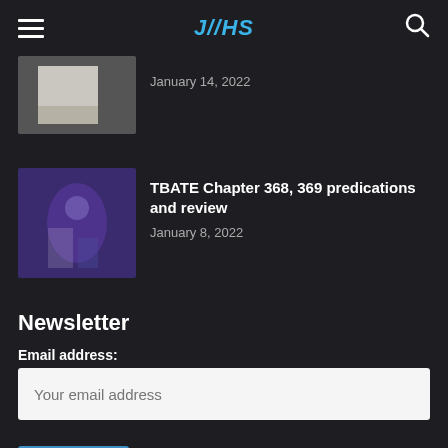JOHS — navigation header with hamburger menu, logo, and search icon
January 14, 2022
TBATE Chapter 368, 369 predications and review
January 8, 2022
Newsletter
Email address:
Your email address
Sign up